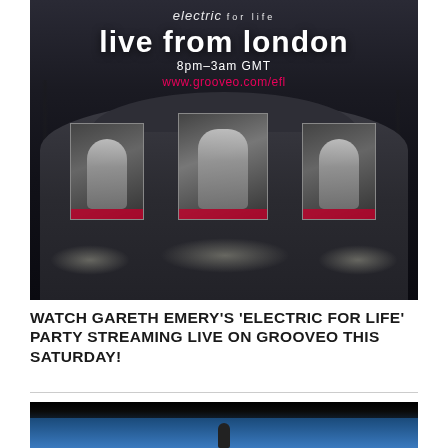[Figure (photo): Promotional event photo for Gareth Emery's 'Electric For Life' live stream from London. Shows a dark concert venue building at night with large posters of performers displayed in illuminated windows. Text overlay reads: 'electric for life / live from london / 8pm-3am GMT / www.grooveo.com/efl']
WATCH GARETH EMERY'S 'ELECTRIC FOR LIFE' PARTY STREAMING LIVE ON GROOVEO THIS SATURDAY!
[Figure (photo): Partially visible image at bottom of page, appears to be a dark scene with blue sky]